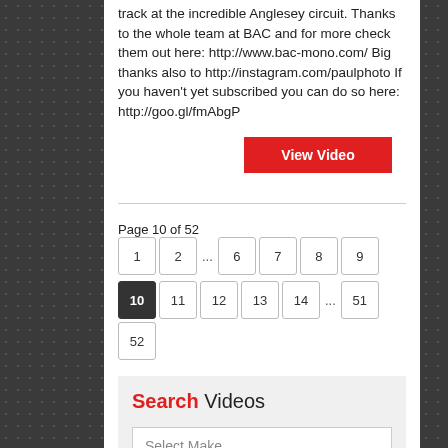track at the incredible Anglesey circuit. Thanks to the whole team at BAC and for more check them out here: http://www.bac-mono.com/ Big thanks also to http://instagram.com/paulphoto If you haven't yet subscribed you can do so here: http://goo.gl/fmAbgP
View Video
Page 10 of 52  1  2  ...  6  7  8  9  10  11  12  13  14  ...  51  52
Search Videos
Select Make
SEARCH